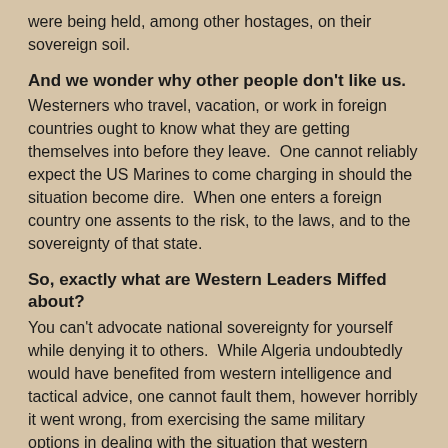were being held, among other hostages, on their sovereign soil.
And we wonder why other people don't like us.
Westerners who travel, vacation, or work in foreign countries ought to know what they are getting themselves into before they leave.  One cannot reliably expect the US Marines to come charging in should the situation become dire.  When one enters a foreign country one assents to the risk, to the laws, and to the sovereignty of that state.
So, exactly what are Western Leaders Miffed about?
You can't advocate national sovereignty for yourself while denying it to others.  While Algeria undoubtedly would have benefited from western intelligence and tactical advice, one cannot fault them, however horribly it went wrong, from exercising the same military options in dealing with the situation that western nations are just as capable of, and just as capable of botching.